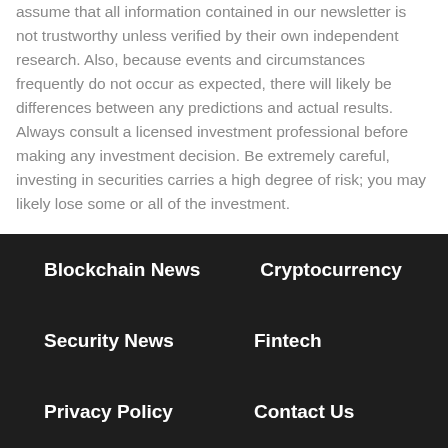assume that all information contained in our newsletter is not trustworthy unless verified by their own independent research. Also, because events and circumstances frequently do not occur as expected, there will likely be differences between any predictions and actual results. Always consult a licensed investment professional before making any investment decision. Be extremely careful, investing in securities carries a high degree of risk; you may likely lose some or all of the investment.
Blockchain News
Cryptocurrency
Security News
Fintech
Disclaimer
Privacy Policy
Contact Us